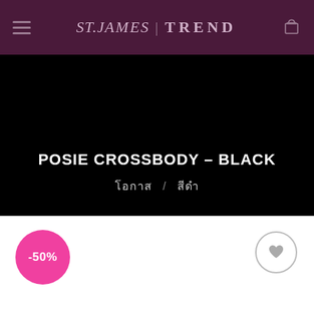ST.JAMES | TREND
POSIE CROSSBODY – BLACK
โอกาส / สีดำ
[Figure (other): Black product background hero image area for Posie Crossbody bag]
-50%
[Figure (other): Wishlist heart icon button (grey circle with heart)]